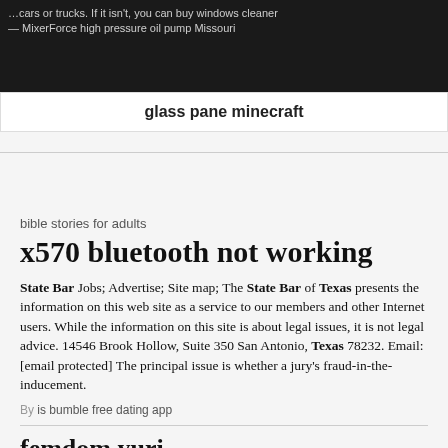…cars or trucks. If it isn't, you can buy windows cleaner — MixerForce high pressure oil pump Missouri
glass pane minecraft
bible stories for adults
x570 bluetooth not working
State Bar Jobs; Advertise; Site map; The State Bar of Texas presents the information on this web site as a service to our members and other Internet users. While the information on this site is about legal issues, it is not legal advice. 14546 Brook Hollow, Suite 350 San Antonio, Texas 78232. Email: [email protected] The principal issue is whether a jury's fraud-in-the-inducement.
By is bumble free dating app
femdom yuri